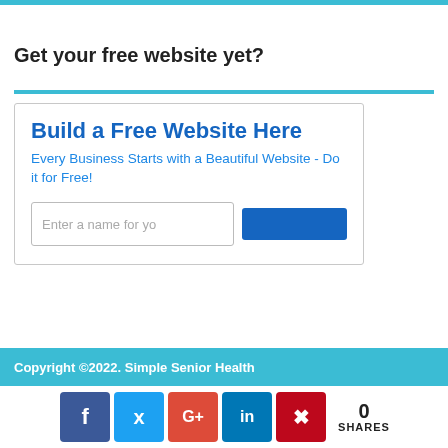Get your free website yet?
[Figure (other): Advertisement box: 'Build a Free Website Here' with subtitle 'Every Business Starts with a Beautiful Website - Do it for Free!' and an input field 'Enter a name for yo' and a blue button]
Copyright ©2022. Simple Senior Health
[Figure (infographic): Social share bar with Facebook, Twitter, Google+, LinkedIn, Pinterest icons and '0 SHARES' count]